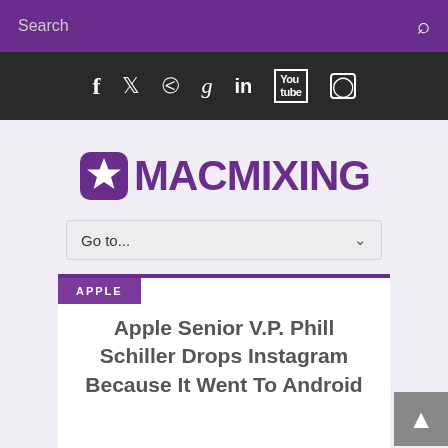Search
[Figure (infographic): Social media icons bar: Facebook, Twitter, RSS, Google+, LinkedIn, YouTube, Instagram]
[Figure (logo): MacMixing logo with purple star/badge icon and purple text MACMIXING]
Go to...
APPLE
Apple Senior V.P. Phill Schiller Drops Instagram Because It Went To Android